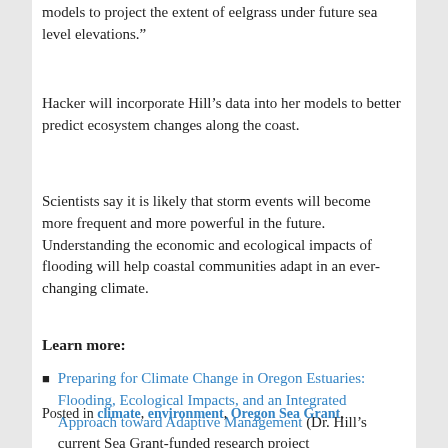models to project the extent of eelgrass under future sea level elevations.”
Hacker will incorporate Hill’s data into her models to better predict ecosystem changes along the coast.
Scientists say it is likely that storm events will become more frequent and more powerful in the future. Understanding the economic and ecological impacts of flooding will help coastal communities adapt in an ever-changing climate.
Learn more:
Preparing for Climate Change in Oregon Estuaries: Flooding, Ecological Impacts, and an Integrated Approach toward Adaptive Management (Dr. Hill’s current Sea Grant-funded research project
Posted in climate, environment, Oregon Sea Grant,